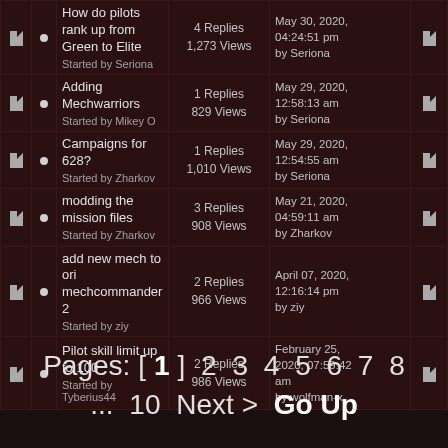|  |  | Topic | Stats | Last Post |  |
| --- | --- | --- | --- | --- | --- |
|  |  | How do pilots rank up from Green to Elite
Started by Seriona | 4 Replies
1,273 Views | May 30, 2020, 04:24:51 pm
by Seriona |  |
|  |  | Adding Mechwarriors
Started by Mikey O | 1 Replies
829 Views | May 29, 2020, 12:58:13 am
by Seriona |  |
|  |  | Campaigns for 628?
Started by Zharkov | 1 Replies
1,010 Views | May 29, 2020, 12:54:55 am
by Seriona |  |
|  |  | modding the mission files
Started by Zharkov | 3 Replies
908 Views | May 21, 2020, 04:59:11 am
by Zharkov |  |
|  |  | add new mech to ori mechcommander 2
Started by ziy | 2 Replies
966 Views | April 07, 2020, 12:16:14 pm
by ziy |  |
|  |  | Pilot skill limit up to 100
Started by Tyberius44 | 2 Replies
986 Views | February 25, 2020, 07:59:42 am
by wolfman-x |  |
Pages: [ 1 ] 2 3 4 5 6 7 8 ... 10 Next > Go Up